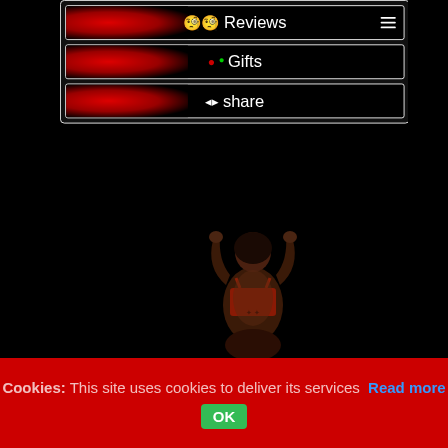[Figure (screenshot): Mobile app menu screenshot showing three buttons: Reviews (with TripAdvisor owl icon and hamburger menu), Gifts (with red and green dot icons), and Share (with share icon). Dark background with red gradient glow on left side of each button, white borders.]
[Figure (photo): Photo of a woman (dancer) seen from behind, arms raised, wearing a red top, against a dark/black background.]
Cookies: This site uses cookies to deliver its services Read more OK